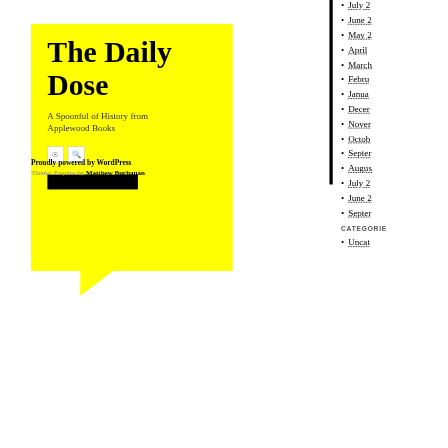[Figure (logo): Yellow speech bubble logo with 'The Daily Dose' title text, subtitle 'A Spoonful of History from Applewood Books', RSS and search icons, and a black bar]
July 2
June 2
May 2
April
March
Febru
Janua
Decer
Nover
Octob
Septer
Augus
July 2
June 2
Septer
CATEGORIES
Uncat
Proudly powered by WordPress
Theme: Esquire by Matthew Buchanan.